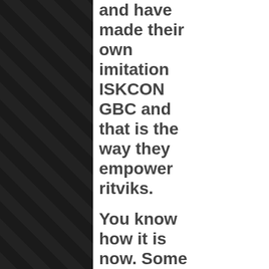and have made their own imitation ISKCON GBC and that is the way they empower ritviks.
You know how it is now. Some devotee just imagines he is a representative of